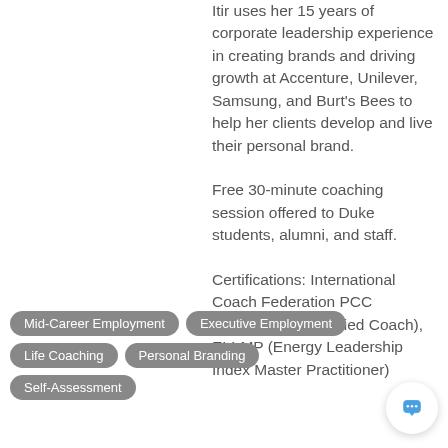Itir uses her 15 years of corporate leadership experience in creating brands and driving growth at Accenture, Unilever, Samsung, and Burt's Bees to help her clients develop and live their personal brand.
Free 30-minute coaching session offered to Duke students, alumni, and staff.
Certifications: International Coach Federation PCC (Professional Certified Coach), ELI-MP (Energy Leadership Index Master Practitioner)
Mid-Career Employment
Executive Employment
Life Coaching
Personal Branding
Self-Assessment